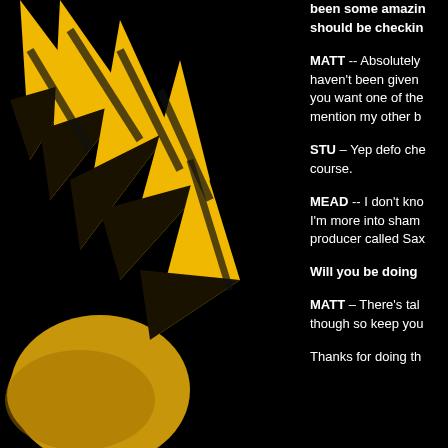[Figure (illustration): Yellow and black graphic of a figure/character on the left side, appears to be a logo or mascot with yellow wings or rays on black background]
been some amazing should be checking
MATT -- Absolutely haven't been given you want one of the mention my other b
STU – Yep defo che course.
MEAD -- I don't kno I'm more into sham producer called Sax
Will you be doing
MATT – There's tal though so keep you
Thanks for doing th